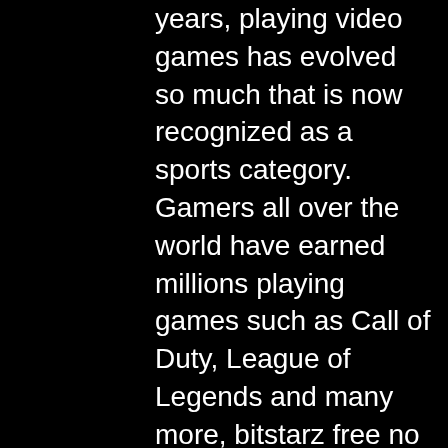years, playing video games has evolved so much that is now recognized as a sports category. Gamers all over the world have earned millions playing games such as Call of Duty, League of Legends and many more, bitstarz free no deposit code. Betting on these e-sports games has also escalated, especially betting with Bitcoin. Naturally, Bitcoin and e-sports go hand in hand and many sites now offer this kind of service. Blockchain poker refers to poker rooms that utilize blockchain technology in their cash games and tournaments, bitstarz free no deposit code. According to the BitStarz website, all of their customer service representatives must have at least three years' experience at other casinos before they work for BitStarz. There are also extensive FAQs on the BitStarz website, which will answer most players' questions, bitstarz free no deposit code. Since its launch, BitStarz has become both